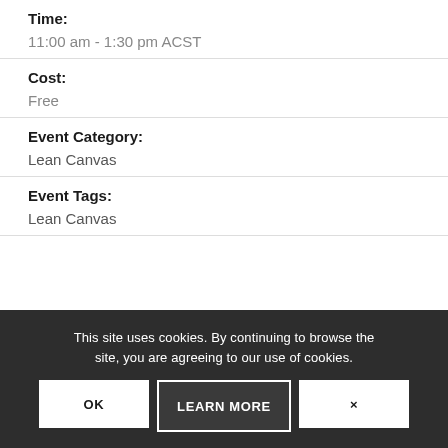Time:
11:00 am - 1:30 pm ACST
Cost:
Free
Event Category:
Lean Canvas
Event Tags:
Lean Canvas
This site uses cookies. By continuing to browse the site, you are agreeing to our use of cookies.